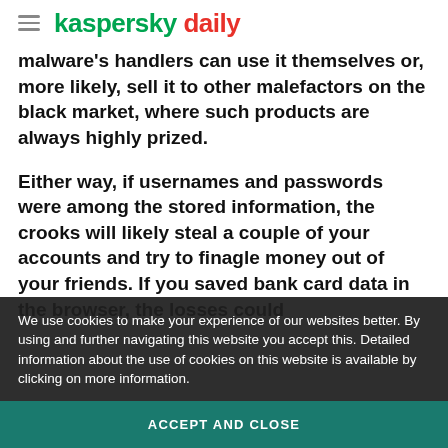kaspersky daily
malware's handlers can use it themselves or, more likely, sell it to other malefactors on the black market, where such products are always highly prized.
Either way, if usernames and passwords were among the stored information, the crooks will likely steal a couple of your accounts and try to finagle money out of your friends. If you saved bank card data in the browser, the losses could be considerably larger. It will also be
We use cookies to make your experience of our websites better. By using and further navigating this website you accept this. Detailed information about the use of cookies on this website is available by clicking on more information.
ACCEPT AND CLOSE